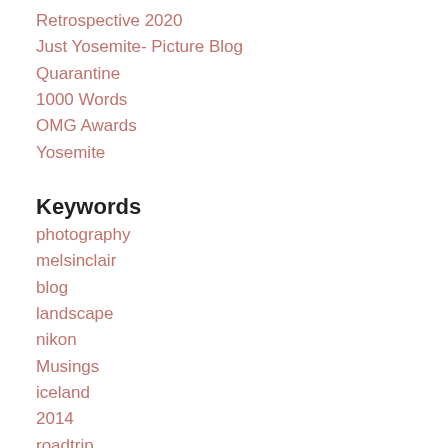Retrospective 2020
Just Yosemite- Picture Blog
Quarantine
1000 Words
OMG Awards
Yosemite
Keywords
photography
melsinclair
blog
landscape
nikon
Musings
iceland
2014
roadtrip
september
Archive